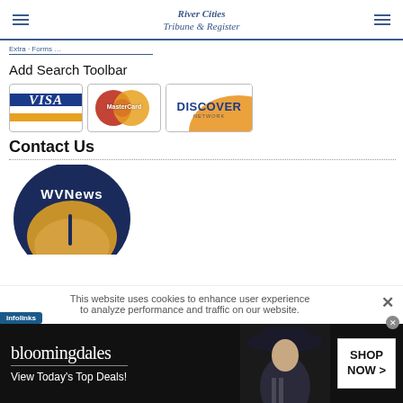River Cities Tribune & Register
Add Search Toolbar
[Figure (logo): VISA, MasterCard, and Discover Network payment card logos]
Contact Us
[Figure (logo): WVNews circular logo with dark navy border and gold/tan center]
This website uses cookies to enhance user experience to analyze performance and traffic on our website.
[Figure (infographic): Bloomingdale's advertisement banner: 'View Today's Top Deals!' with SHOP NOW > button and model photo]